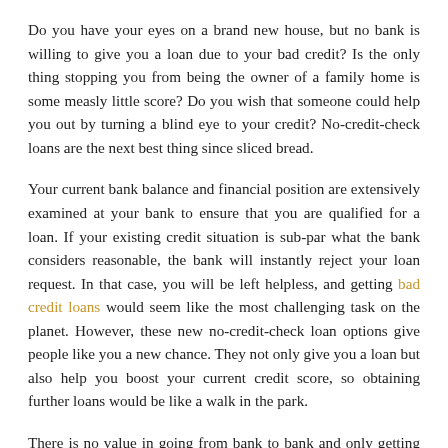Do you have your eyes on a brand new house, but no bank is willing to give you a loan due to your bad credit? Is the only thing stopping you from being the owner of a family home is some measly little score? Do you wish that someone could help you out by turning a blind eye to your credit? No-credit-check loans are the next best thing since sliced bread.
Your current bank balance and financial position are extensively examined at your bank to ensure that you are qualified for a loan. If your existing credit situation is sub-par what the bank considers reasonable, the bank will instantly reject your loan request. In that case, you will be left helpless, and getting bad credit loans would seem like the most challenging task on the planet. However, these new no-credit-check loan options give people like you a new chance. They not only give you a loan but also help you boost your current credit score, so obtaining further loans would be like a walk in the park.
There is no value in going from bank to bank and only getting rejected. It's not only humiliating but also puts a spanner in the process of you getting what you want. These new no credit check loans understand that people deserve a second chance and a “bad” credit score is not